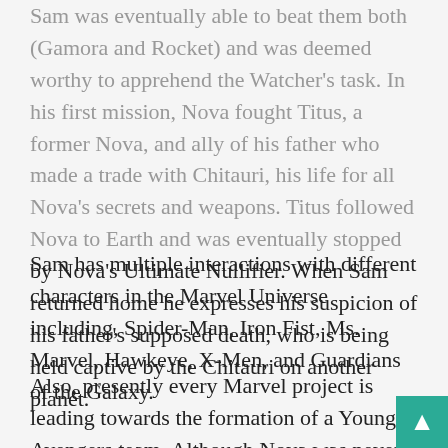Sam was eventually able to beat them both (Gamora and Rocket) and was deemed worthy to apprehend the Watcher's task. In his first mission, Nova fought Titus, a former Nova, and ally of his father who made a trade with Chitauri, his life for all Nova's secrets and weapons. Titus followed Nova to Earth and was eventually stopped by Nova's Ultimate Nullifier. When Sam returned home he expresses his suspicion of his father's supposed death, who is being held captive by the Chitauri on another planet.
Sam has multiple interactions with different characters in the Marvel Universe including, Spider-Man, Iron Fist, Ms. Marvel, Hawkeye, X-Men, and Guardians of the Galaxy.
Also, presently every Marvel project is leading towards the formation of a Young Avengers team. Although Nova was never part of the Young Avengers in the comics, he can be part of a new team in the MCU, with so many